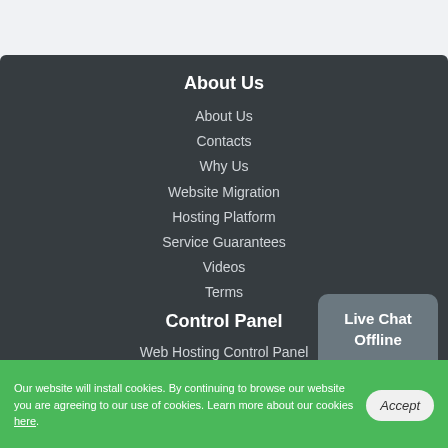About Us
About Us
Contacts
Why Us
Website Migration
Hosting Platform
Service Guarantees
Videos
Terms
Control Panel
Web Hosting Control Panel
Hepsia vs cPanel
[Figure (other): Live Chat Offline chat bubble widget in grey]
Our website will install cookies. By continuing to browse our website you are agreeing to our use of cookies. Learn more about our cookies here.